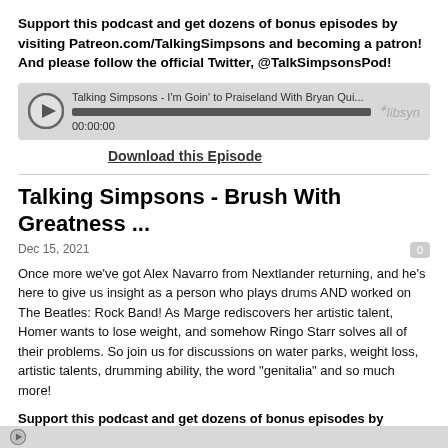Support this podcast and get dozens of bonus episodes by visiting Patreon.com/TalkingSimpsons and becoming a patron! And please follow the official Twitter, @TalkSimpsonsPod!
[Figure (other): Audio player widget from Libsyn showing episode title 'Talking Simpsons - I'm Goin' to Praiseland With Bryan Qui...' with progress bar at 00:00:00]
Download this Episode
Talking Simpsons - Brush With Greatness ...
Dec 15, 2021
Once more we've got Alex Navarro from Nextlander returning, and he's here to give us insight as a person who plays drums AND worked on The Beatles: Rock Band! As Marge rediscovers her artistic talent, Homer wants to lose weight, and somehow Ringo Starr solves all of their problems. So join us for discussions on water parks, weight loss, artistic talents, drumming ability, the word "genitalia" and so much more!
Support this podcast and get dozens of bonus episodes by visiting Patreon.com/TalkingSimpsons and becoming a patron! And please follow the official Twitter, @TalkSimpsonsPod!